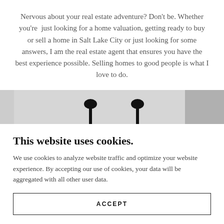Nervous about your real estate adventure? Don't be. Whether you're just looking for a home valuation, getting ready to buy or sell a home in Salt Lake City or just looking for some answers, I am the real estate agent that ensures you have the best experience possible. Selling homes to good people is what I love to do.
[Figure (photo): Partial photo strip showing two dark lamp bases against a light grey background]
This website uses cookies.
We use cookies to analyze website traffic and optimize your website experience. By accepting our use of cookies, your data will be aggregated with all other user data.
ACCEPT